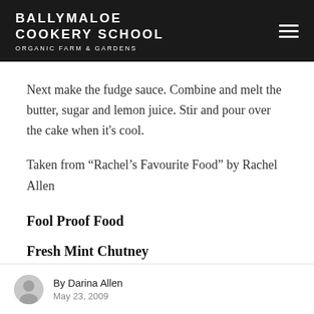BALLYMALOE COOKERY SCHOOL ORGANIC FARM & GARDENS
Next make the fudge sauce. Combine and melt the butter, sugar and lemon juice. Stir and pour over the cake when it's cool.
Taken from “Rachel’s Favourite Food” by Rachel Allen
Fool Proof Food
Fresh Mint Chutney
By Darina Allen
May 23, 2009